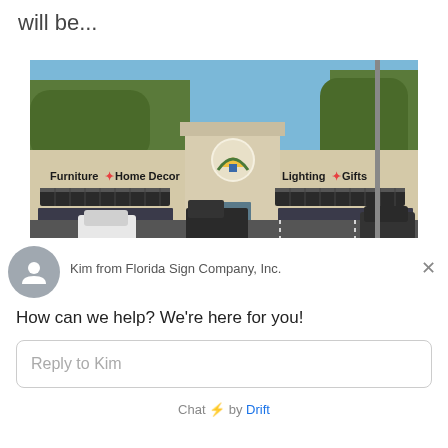will be...
[Figure (photo): Exterior photo of a retail store with signage reading 'Furniture + Home Decor' and 'Lighting + Gifts', with a logo in the center. Several vehicles are parked in front. The building is a tan/beige strip mall style structure with dark awnings.]
Kim from Florida Sign Company, Inc.
How can we help? We're here for you!
Reply to Kim
Chat ⚡ by Drift